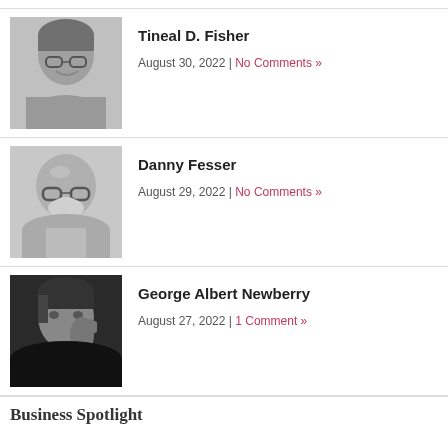[Figure (photo): Black and white portrait photo of Tineal D. Fisher, a woman with glasses and short hair, smiling]
Tineal D. Fisher
August 30, 2022 | No Comments »
[Figure (photo): Black and white portrait photo of Danny Fesser, a bald man with glasses and a beard]
Danny Fesser
August 29, 2022 | No Comments »
[Figure (photo): Black and white portrait photo of George Albert Newberry, a man with dark hair resting his hand near his face]
George Albert Newberry
August 27, 2022 | 1 Comment »
Business Spotlight